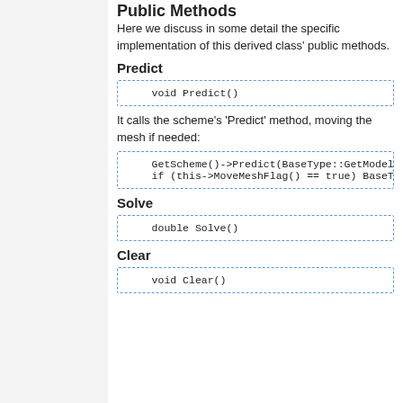Public Methods
Here we discuss in some detail the specific implementation of this derived class' public methods.
Predict
void Predict()
It calls the scheme's 'Predict' method, moving the mesh if needed:
GetScheme()->Predict(BaseType::GetModelPa
if (this->MoveMeshFlag() == true) BaseTy
Solve
double Solve()
Clear
void Clear()